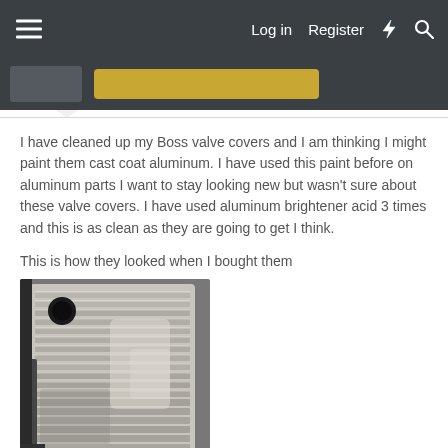Log in  Register
I have cleaned up my Boss valve covers and I am thinking I might paint them cast coat aluminum. I have used this paint before on aluminum parts I want to stay looking new but wasn't sure about these valve covers. I have used aluminum brightener acid 3 times and this is as clean as they are going to get I think.
This is how they looked when I bought them
[Figure (photo): Photo of aluminum Boss valve covers showing ribbed surface, two holes, and oxidized/dirty condition before cleaning]